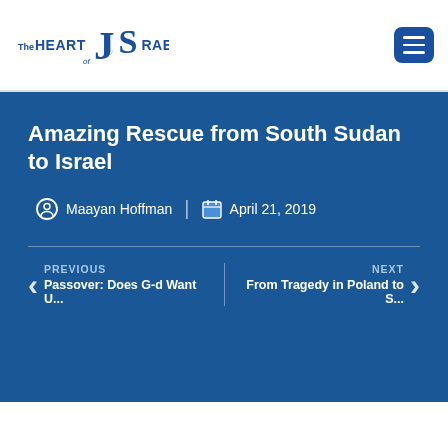The Heart of Israel
Amazing Rescue from South Sudan to Israel
Maayan Hoffman | April 21, 2019
PREVIOUS Passover: Does G-d Want U...
NEXT From Tragedy in Poland to S...